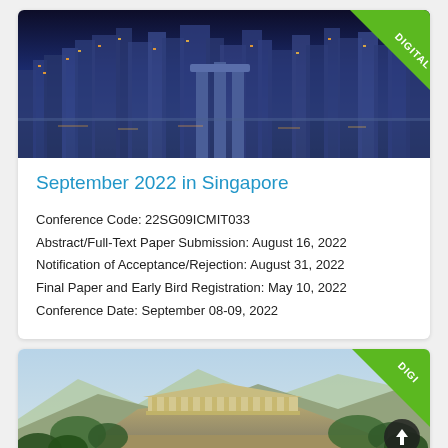[Figure (photo): Singapore night city skyline with DIGITAL badge in top-right corner]
September 2022 in Singapore
Conference Code: 22SG09ICMIT033
Abstract/Full-Text Paper Submission: August 16, 2022
Notification of Acceptance/Rejection: August 31, 2022
Final Paper and Early Bird Registration: May 10, 2022
Conference Date: September 08-09, 2022
[Figure (photo): Athens Acropolis/Parthenon daytime with DIGITAL badge in top-right corner and scroll-to-top arrow button]